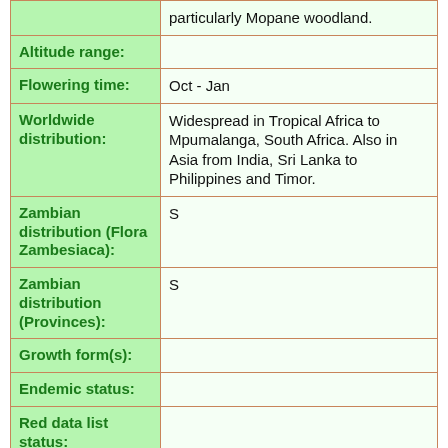| Field | Value |
| --- | --- |
|  | particularly Mopane woodland. |
| Altitude range: |  |
| Flowering time: | Oct - Jan |
| Worldwide distribution: | Widespread in Tropical Africa to Mpumalanga, South Africa. Also in Asia from India, Sri Lanka to Philippines and Timor. |
| Zambian distribution (Flora Zambesiaca): | S |
| Zambian distribution (Provinces): | S |
| Growth form(s): |  |
| Endemic status: |  |
| Red data list status: |  |